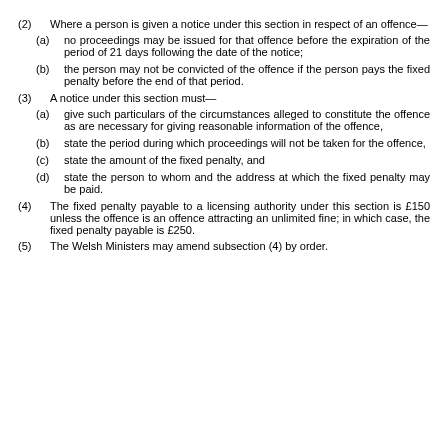(2) Where a person is given a notice under this section in respect of an offence—
(a) no proceedings may be issued for that offence before the expiration of the period of 21 days following the date of the notice;
(b) the person may not be convicted of the offence if the person pays the fixed penalty before the end of that period.
(3) A notice under this section must—
(a) give such particulars of the circumstances alleged to constitute the offence as are necessary for giving reasonable information of the offence,
(b) state the period during which proceedings will not be taken for the offence,
(c) state the amount of the fixed penalty, and
(d) state the person to whom and the address at which the fixed penalty may be paid.
(4) The fixed penalty payable to a licensing authority under this section is £150 unless the offence is an offence attracting an unlimited fine; in which case, the fixed penalty payable is £250.
(5) The Welsh Ministers may amend subsection (4) by order.